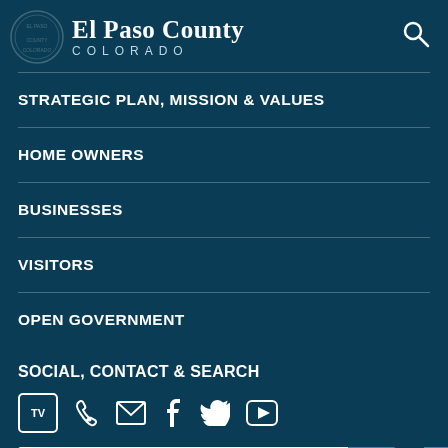El Paso County COLORADO
STRATEGIC PLAN, MISSION & VALUES
HOME OWNERS
BUSINESSES
VISITORS
OPEN GOVERNMENT
SOCIAL, CONTACT & SEARCH
[Figure (infographic): Social and contact icons: TV, phone, email, Facebook, Twitter, YouTube]
What can we help you find?